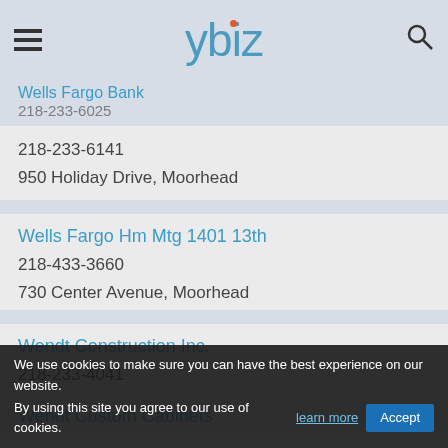[Figure (logo): ybiz logo with hamburger menu and search icon navigation bar]
Wells Fargo Bank
218-233-6141
950 Holiday Drive, Moorhead
Wells Fargo Hm Mtg 1401 13th
218-433-3660
730 Center Avenue, Moorhead
Wendt Construction Inc.
218-233-4041
1404 53rd Avenue North, Moorhead
Wendt Custom Cabinets
218-227-0440
2720 22nd Avenue South, Moorhead
We use cookies to make sure you can have the best experience on our website. By using this site you agree to our use of cookies. learn more  Accept